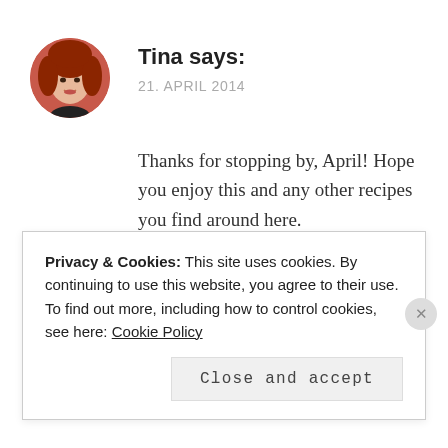[Figure (photo): Circular avatar photo of a woman with red/auburn hair, smiling]
Tina says:
21. APRIL 2014
Thanks for stopping by, April! Hope you enjoy this and any other recipes you find around here.
REPLY
Privacy & Cookies: This site uses cookies. By continuing to use this website, you agree to their use.
To find out more, including how to control cookies, see here: Cookie Policy
Close and accept